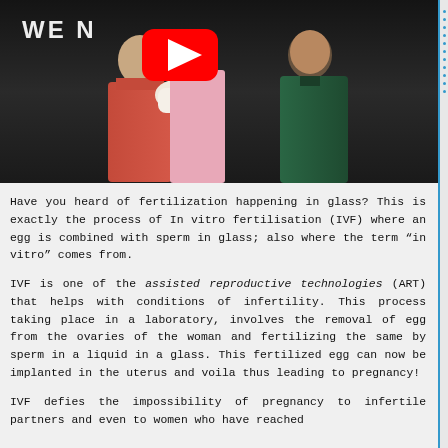[Figure (photo): Screenshot of a YouTube video thumbnail showing two people, one in a red/pink outfit and one in a dark green shirt, with a baby wrapped in white cloth. The YouTube play button is visible in the upper center. Text 'WE N' appears in the upper left of the video frame.]
Have you heard of fertilization happening in glass? This is exactly the process of In vitro fertilisation (IVF) where an egg is combined with sperm in glass; also where the term “in vitro” comes from.
IVF is one of the assisted reproductive technologies (ART) that helps with conditions of infertility. This process taking place in a laboratory, involves the removal of egg from the ovaries of the woman and fertilizing the same by sperm in a liquid in a glass. This fertilized egg can now be implanted in the uterus and voila thus leading to pregnancy!
IVF defies the impossibility of pregnancy to infertile partners and even to women who have reached